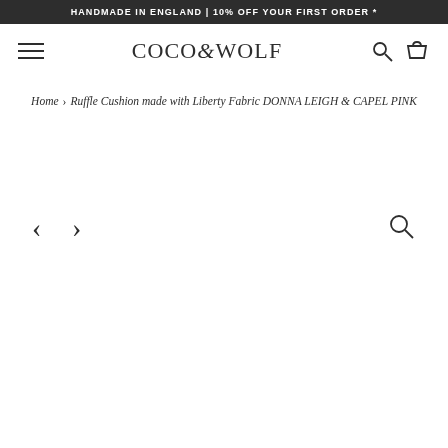HANDMADE IN ENGLAND | 10% OFF YOUR FIRST ORDER *
[Figure (logo): COCO&WOLF brand logo with hamburger menu, search icon, and cart icon in navigation bar]
Home › Ruffle Cushion made with Liberty Fabric DONNA LEIGH & CAPEL PINK
[Figure (other): Product image carousel area with left arrow, right arrow navigation and zoom/search icon]